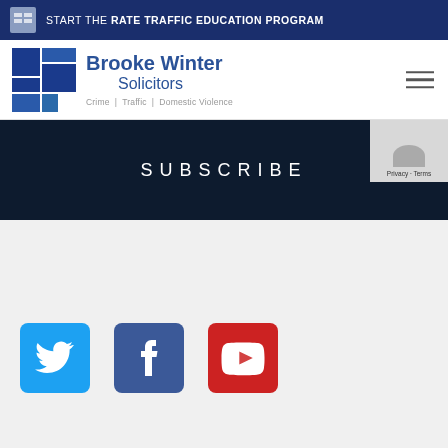START THE RATE TRAFFIC EDUCATION PROGRAM
[Figure (logo): Brooke Winter Solicitors logo with blue grid icon, text: Crime | Traffic | Domestic Violence]
SUBSCRIBE
[Figure (screenshot): Privacy · Terms badge in top right corner of subscribe section]
[Figure (other): Twitter, Facebook, and YouTube social media icon buttons]